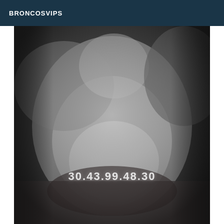BRONCOSVIPS
[Figure (photo): Black and white intimate photograph of two people, with text overlay reading '30.43.99.48.30' in white letters near the bottom center of the image]